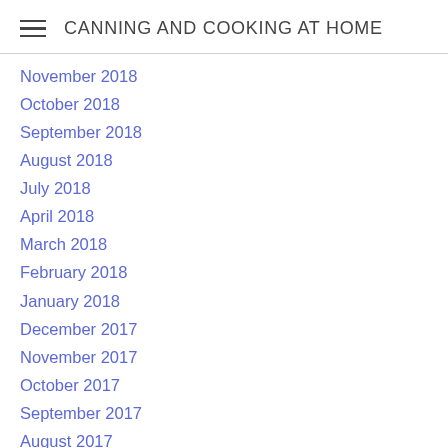CANNING AND COOKING AT HOME
November 2018
October 2018
September 2018
August 2018
July 2018
April 2018
March 2018
February 2018
January 2018
December 2017
November 2017
October 2017
September 2017
August 2017
July 2017
June 2017
May 2017
April 2017